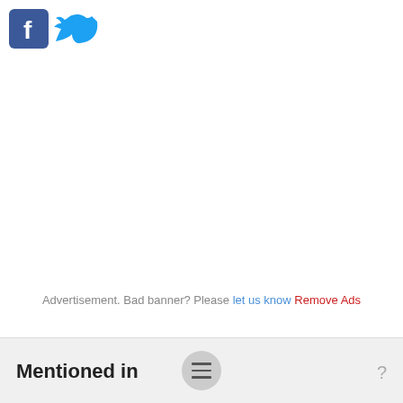[Figure (logo): Facebook and Twitter social media icons side by side]
Advertisement. Bad banner? Please let us know Remove Ads
Mentioned in